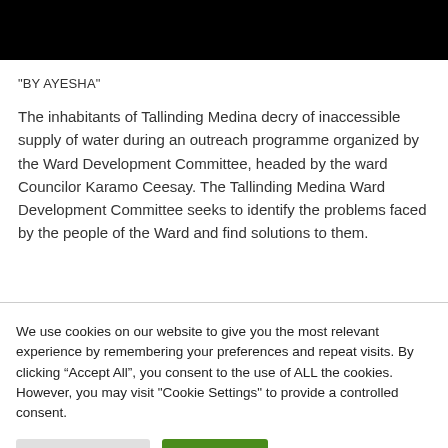“BY AYESHA”
The inhabitants of Tallinding Medina decry of inaccessible supply of water during an outreach programme organized by the Ward Development Committee, headed by the ward Councilor Karamo Ceesay. The Tallinding Medina Ward Development Committee seeks to identify the problems faced by the people of the Ward and find solutions to them.
We use cookies on our website to give you the most relevant experience by remembering your preferences and repeat visits. By clicking “Accept All”, you consent to the use of ALL the cookies. However, you may visit "Cookie Settings" to provide a controlled consent.